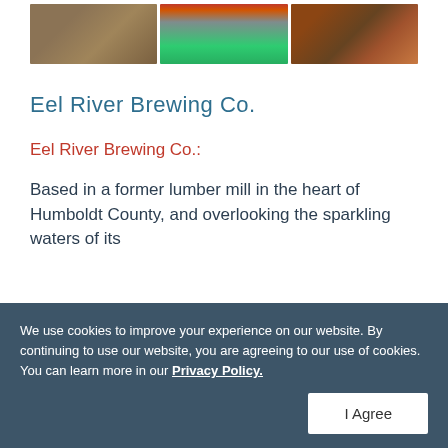[Figure (photo): Three photos in a row: left shows beer bottles/cans on leaves, middle shows an outdoor event with red umbrellas and crowd, right shows a red drink in a glass on a wooden surface.]
Eel River Brewing Co.
Eel River Brewing Co.:
Based in a former lumber mill in the heart of Humboldt County, and overlooking the sparkling waters of its
We use cookies to improve your experience on our website. By continuing to use our website, you are agreeing to our use of cookies. You can learn more in our Privacy Policy.